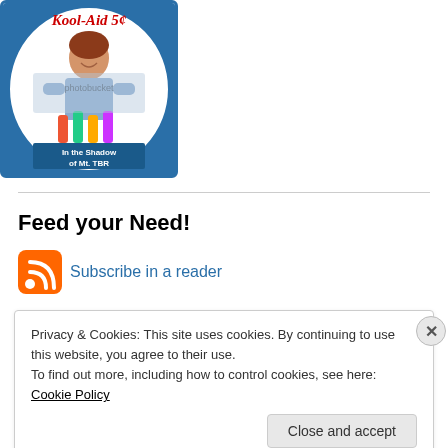[Figure (illustration): Vintage Kool-Aid advertisement image showing a smiling woman holding colorful drinks, with text 'Kool-Aid 5¢' at top and 'In the Shadow of Mt. TBR' label in blue at bottom, on a blue background. Has photobucket watermark overlay.]
Feed your Need!
Subscribe in a reader
Privacy & Cookies: This site uses cookies. By continuing to use this website, you agree to their use.
To find out more, including how to control cookies, see here: Cookie Policy
Close and accept